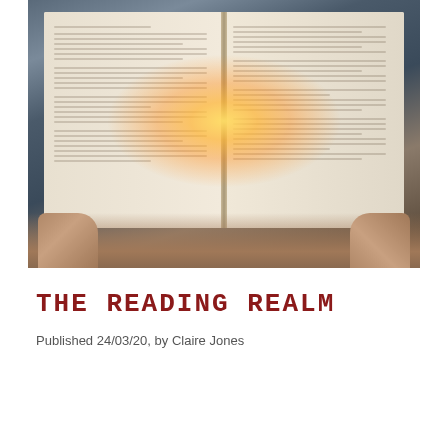[Figure (photo): An open book held by two hands against silky fabric, with glowing fairy lights spilling from between the pages creating a warm golden glow in the center of the book spread.]
THE READING REALM
Published 24/03/20, by Claire Jones